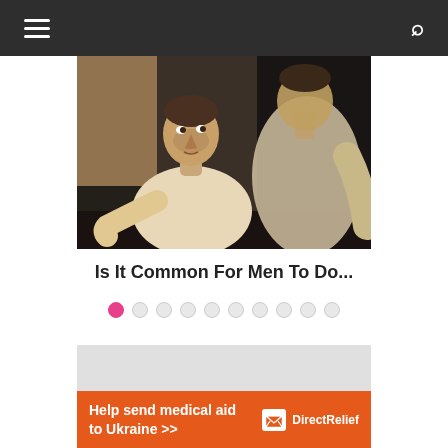Navigation bar with hamburger menu and search icon
[Figure (photo): A man in a white t-shirt looking intensely at his reflection in a bathroom mirror, dark background]
Is It Common For Men To Do...
[Figure (infographic): Carousel navigation dots — first dot active (pink), followed by nine inactive grey dots]
[Figure (infographic): Advertisement banner: 'Help send medical aid to Ukraine >>' with Direct Relief logo on orange background]